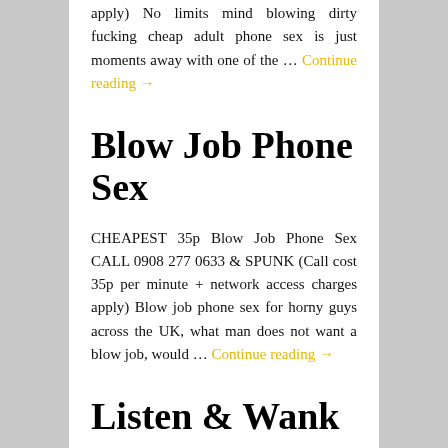apply) No limits mind blowing dirty fucking cheap adult phone sex is just moments away with one of the … Continue reading →
Blow Job Phone Sex
CHEAPEST 35p Blow Job Phone Sex CALL 0908 277 0633 & SPUNK (Call cost 35p per minute + network access charges apply) Blow job phone sex for horny guys across the UK, what man does not want a blow job, would … Continue reading →
Listen & Wank